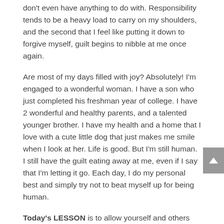don't even have anything to do with. Responsibility tends to be a heavy load to carry on my shoulders, and the second that I feel like putting it down to forgive myself, guilt begins to nibble at me once again.
Are most of my days filled with joy? Absolutely! I'm engaged to a wonderful woman. I have a son who just completed his freshman year of college. I have 2 wonderful and healthy parents, and a talented younger brother. I have my health and a home that I love with a cute little dog that just makes me smile when I look at her. Life is good. But I'm still human. I still have the guilt eating away at me, even if I say that I'm letting it go. Each day, I do my personal best and simply try not to beat myself up for being human.
Today's LESSON is to allow yourself and others enough leeway to be human.
FUN ASSIGNMENT: Indulge in a healthy activity that you haven't done in a while that feeds who you are and